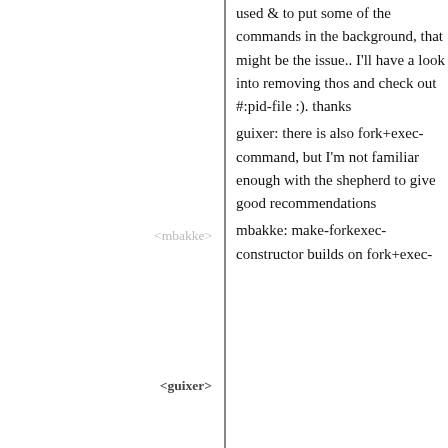used & to put some of the commands in the background, that might be the issue.. I'll have a look into removing thos and check out #:pid-file :). thanks
<mbakke> guixer: there is also fork+exec-command, but I'm not familiar enough with the shepherd to give good recommendations
<guixer> mbakke: make-forkexec-constructor builds on fork+exec-